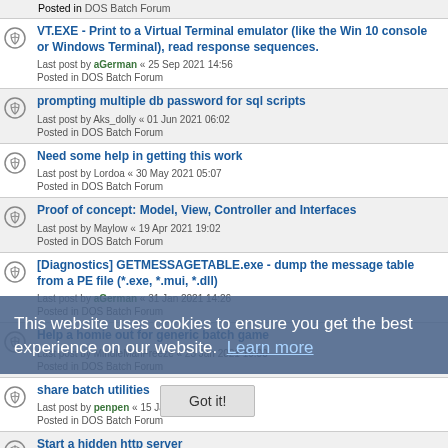Posted in DOS Batch Forum (partial, top)
VT.EXE - Print to a Virtual Terminal emulator (like the Win 10 console or Windows Terminal), read response sequences. Last post by aGerman « 25 Sep 2021 14:56 Posted in DOS Batch Forum
prompting multiple db password for sql scripts. Last post by Aks_dolly « 01 Jun 2021 06:02 Posted in DOS Batch Forum
Need some help in getting this work. Last post by Lordoa « 30 May 2021 05:07 Posted in DOS Batch Forum
Proof of concept: Model, View, Controller and Interfaces. Last post by Maylow « 19 Apr 2021 19:02 Posted in DOS Batch Forum
[Diagnostics] GETMESSAGETABLE.exe - dump the message table from a PE file (*.exe, *.mui, *.dll). Last post by aGerman « 31 Jan 2021 14:26 Posted in DOS Batch Forum
Help a homie out for generic batch game. Last post by MindleManFreeze « 23 Jan 2021 19:00 Posted in DOS Batch Forum
share batch utilities. Last post by penpen « 15 Jan 2021 17:05 Posted in ...
Start a hidden http server. Last post by hacxx « 31 Oct 2020 14:32 Posted in DOS Batch Forum
[How-To] Decimal numbers to numeral systems of any base, and vice versa. Last post by aGerman « 18 Oct 2020 11:04 Posted in DOS Batch Forum
This website uses cookies to ensure you get the best experience on our website. Learn more
Got it!